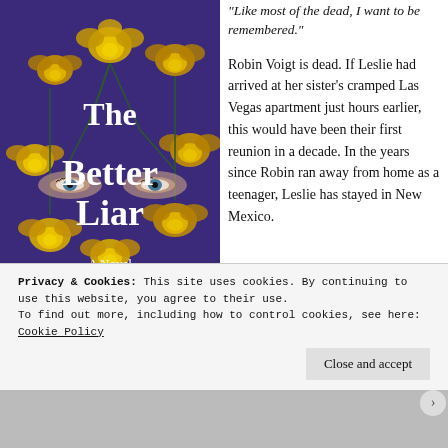[Figure (illustration): Book cover of 'The Better Liar' by Tanen Jones. Purple background with yellow roses and a woman's eyes peeking through. Text reads: The Better Liar, A Novel, TANEN JONES.]
“Like most of the dead, I want to be remembered.”
Robin Voigt is dead. If Leslie had arrived at her sister’s cramped Las Vegas apartment just hours earlier, this would have been their first reunion in a decade. In the years since Robin ran away from home as a teenager, Leslie has stayed in New Mexico.
Privacy & Cookies: This site uses cookies. By continuing to use this website, you agree to their use.
To find out more, including how to control cookies, see here: Cookie Policy
Close and accept